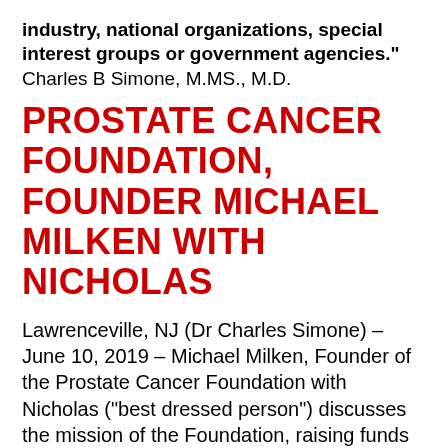industry, national organizations, special interest groups or government agencies." Charles B Simone, M.MS., M.D.
PROSTATE CANCER FOUNDATION, FOUNDER MICHAEL MILKEN WITH NICHOLAS
Lawrenceville, NJ (Dr Charles Simone) – June 10, 2019 – Michael Milken, Founder of the Prostate Cancer Foundation with Nicholas ("best dressed person") discusses the mission of the Foundation, raising funds and awareness for prostate cancer screening and treatment with the help of Major League Baseball, the Philadelphia